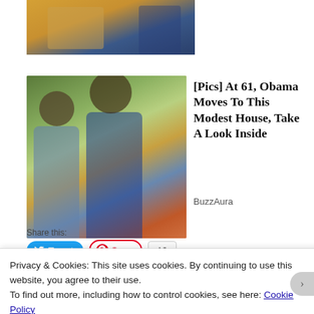[Figure (photo): Partial photo cropped at top, showing a person in a yellow/golden outfit against a blue background]
[Figure (photo): Photo of Barack Obama and Michelle Obama outdoors, smiling, with green foliage in background]
[Pics] At 61, Obama Moves To This Modest House, Take A Look Inside
BuzzAura
Share this:
Tweet
Save
19
Like
Privacy & Cookies: This site uses cookies. By continuing to use this website, you agree to their use.
To find out more, including how to control cookies, see here: Cookie Policy
Close and accept